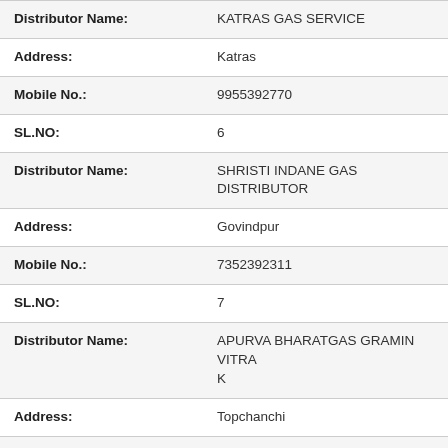| Field | Value |
| --- | --- |
| Distributor Name: | KATRAS GAS SERVICE |
| Address: | Katras |
| Mobile No.: | 9955392770 |
| SL.NO: | 6 |
| Distributor Name: | SHRISTI INDANE GAS DISTRIBUTOR |
| Address: | Govindpur |
| Mobile No.: | 7352392311 |
| SL.NO: | 7 |
| Distributor Name: | APURVA BHARATGAS GRAMIN VITRAK |
| Address: | Topchanchi |
| Mobile No.: | 7764001076 |
| SL.NO: | 8 |